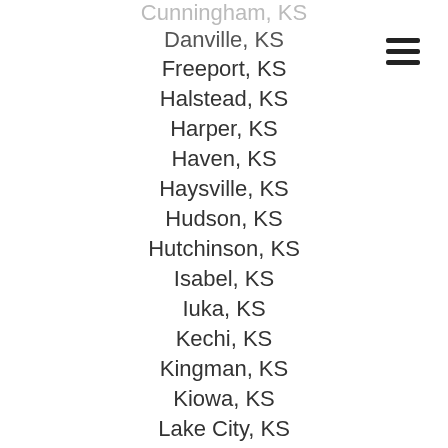Cunningham, KS
Danville, KS
Freeport, KS
Halstead, KS
Harper, KS
Haven, KS
Haysville, KS
Hudson, KS
Hutchinson, KS
Isabel, KS
Iuka, KS
Kechi, KS
Kingman, KS
Kiowa, KS
Lake City, KS
Lyons, KS